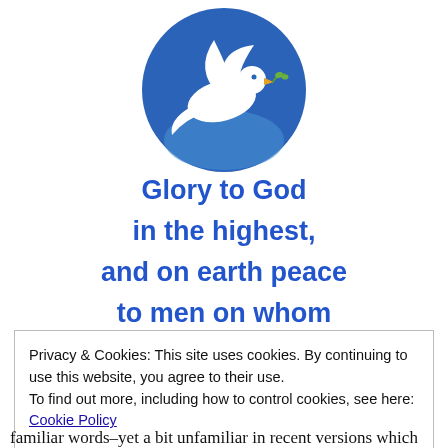[Figure (logo): A circular blue icon with a white dove holding an olive branch, representing peace. The dove is in flight against a blue gradient circle background with a light blue lower section.]
Glory to God

in the highest,

and on earth peace

to men on whom
Privacy & Cookies: This site uses cookies. By continuing to use this website, you agree to their use.
To find out more, including how to control cookies, see here: Cookie Policy
Close and accept
familiar words–yet a bit unfamiliar in recent versions which